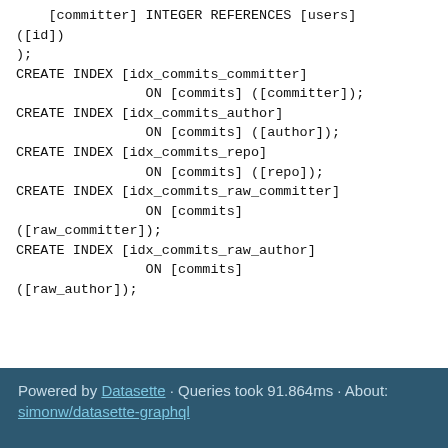[committer] INTEGER REFERENCES [users]
([id])
);
CREATE INDEX [idx_commits_committer]
                ON [commits] ([committer]);
CREATE INDEX [idx_commits_author]
                ON [commits] ([author]);
CREATE INDEX [idx_commits_repo]
                ON [commits] ([repo]);
CREATE INDEX [idx_commits_raw_committer]
                ON [commits]
([raw_committer]);
CREATE INDEX [idx_commits_raw_author]
                ON [commits]
([raw_author]);
Powered by Datasette · Queries took 91.864ms · About: simonw/datasette-graphql